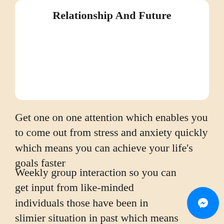Relationship And Future
Get one on one attention which enables you to come out from stress and anxiety quickly which means you can achieve your life's goals faster
Weekly group interaction so you can get input from like-minded individuals those have been in slimier situation in past which means you can you can benefit from hundreds of years of life experience in just a few minutes